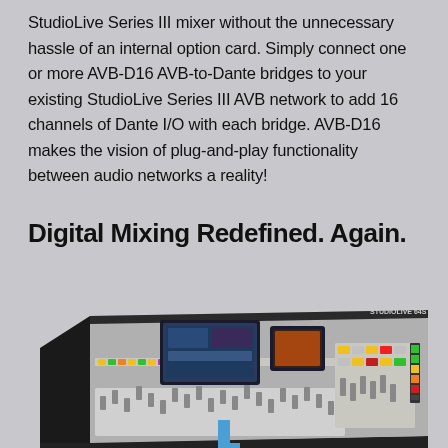StudioLive Series III mixer without the unnecessary hassle of an internal option card. Simply connect one or more AVB-D16 AVB-to-Dante bridges to your existing StudioLive Series III AVB network to add 16 channels of Dante I/O with each bridge. AVB-D16 makes the vision of plug-and-play functionality between audio networks a reality!
Digital Mixing Redefined. Again.
[Figure (photo): A digital mixing console (StudioLive Series III) shown in perspective view from the front-left, featuring faders, colorful buttons, touchscreens, and multiple control sections on a gray background. A blue vertical line extends from the bottom of the mixer downward.]